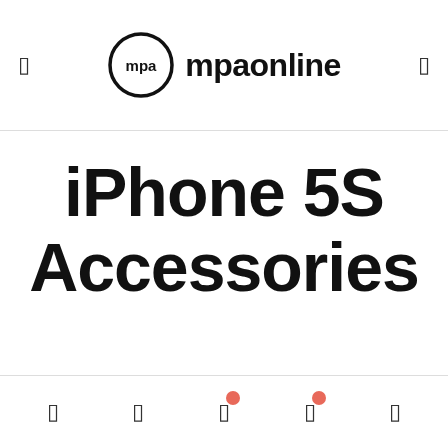mpaonline
iPhone 5S Accessories
navigation icons